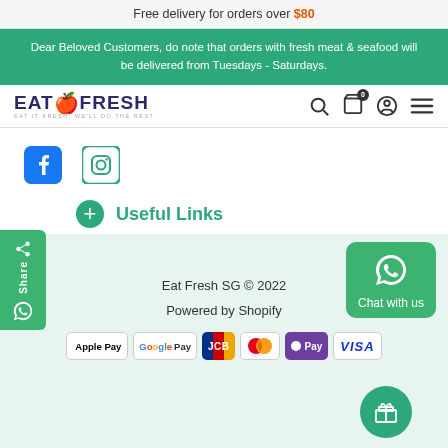Free delivery for orders over $80
Dear Beloved Customers, do note that orders with fresh meat & seafood will be delivered from Tuesdays - Saturdays.
[Figure (logo): EatFresh logo with text EAT IT FRESH, WE'LL DO THE REST]
[Figure (screenshot): Navigation icons: search, cart (0), user profile, hamburger menu]
[Figure (infographic): Facebook and Instagram social media icons]
Useful Links
Eat Fresh SG © 2022
Powered by Shopify
[Figure (infographic): Payment icons: Apple Pay, Google Pay, JCB, Mastercard, OPay, VISA]
[Figure (infographic): WhatsApp Chat with us button]
[Figure (infographic): Share button on left side]
[Figure (infographic): Gift/reward circle button]